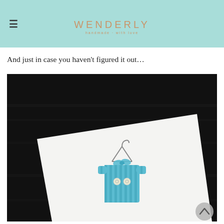WENDERLY
And just in case you haven’t figured it out…
[Figure (photo): A close-up photograph of a handmade greeting card on a dark wooden surface. The card is white and features an illustration of a blue striped baby onesie hanging on a small wire hanger, with a matching blue ribbon/bow and two white buttons.]